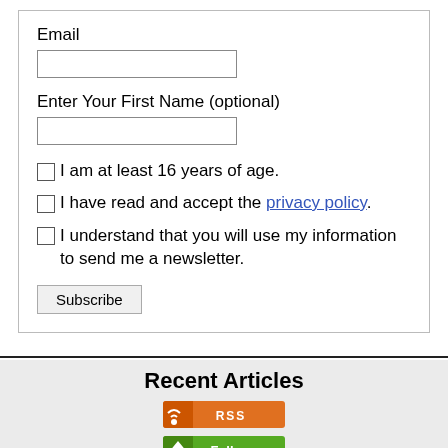Email
Enter Your First Name (optional)
I am at least 16 years of age.
I have read and accept the privacy policy.
I understand that you will use my information to send me a newsletter.
Subscribe
Recent Articles
[Figure (logo): RSS feed badge (orange)]
[Figure (logo): Follow badge (green)]
[Figure (logo): Add to My Yahoo! badge (blue)]